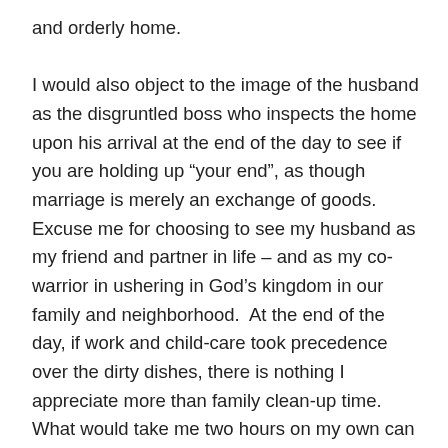and orderly home.

I would also object to the image of the husband as the disgruntled boss who inspects the home upon his arrival at the end of the day to see if you are holding up “your end”, as though marriage is merely an exchange of goods. Excuse me for choosing to see my husband as my friend and partner in life – and as my co-warrior in ushering in God’s kingdom in our family and neighborhood.  At the end of the day, if work and child-care took precedence over the dirty dishes, there is nothing I appreciate more than family clean-up time.  What would take me two hours on my own can take half an hour when Logan and the kids are all helping me.  We are a team and we understand that we all need each other to pitch in and serve together.  In this way, we are also training our sons to take responsibility for